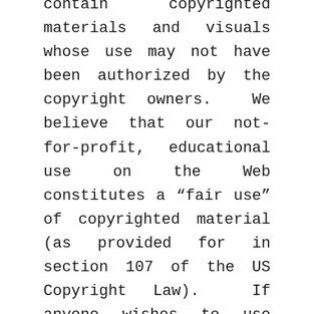contain copyrighted materials and visuals whose use may not have been authorized by the copyright owners. We believe that our not-for-profit, educational use on the Web constitutes a “fair use” of copyrighted material (as provided for in section 107 of the US Copyright Law). If anyone wishes to use this copyrighted material for purposes that go beyond “fair use,” they must obtain permission from the copyright owner. “Fair use” notwithstanding, we will immediately comply with any copyright owner who wants his or